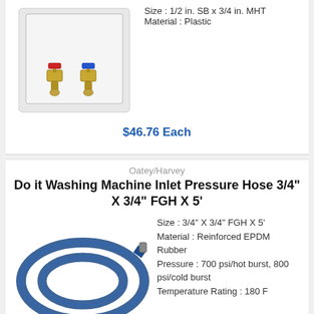[Figure (photo): Washing machine outlet box with two brass ball valves with red and blue handles, white plastic housing]
Size : 1/2 in. SB x 3/4 in. MHT
Material : Plastic
$46.76 Each
Oatey/Harvey
Do it Washing Machine Inlet Pressure Hose 3/4" X 3/4" FGH X 5'
[Figure (photo): Blue reinforced EPDM rubber washing machine inlet pressure hose coiled, with metal fittings]
Size : 3/4" X 3/4" FGH X 5'
Material : Reinforced EPDM Rubber
Pressure : 700 psi/hot burst, 800 psi/cold burst
Temperature Rating : 180 F